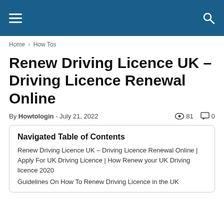Navigation header with hamburger menu and search icon
Home › How Tos
Renew Driving Licence UK – Driving Licence Renewal Online
By Howtologin - July 21, 2022   81   0
Navigated Table of Contents
Renew Driving Licence UK – Driving Licence Renewal Online | Apply For UK Driving Licence | How Renew your UK Driving licence 2020
Guidelines On How To Renew Driving Licence in the UK